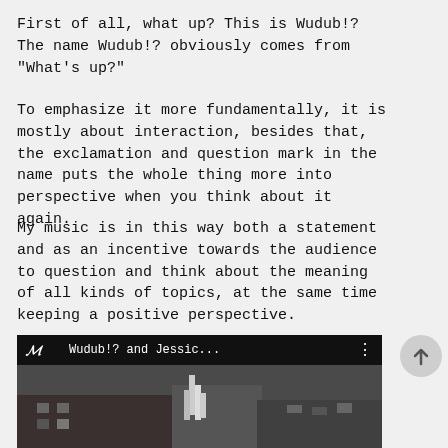First of all, what up? This is Wudub!? The name Wudub!? obviously comes from “What’s up?”
To emphasize it more fundamentally, it is mostly about interaction, besides that, the exclamation and question mark in the name puts the whole thing more into perspective when you think about it again.
My music is in this way both a statement and as an incentive towards the audience to question and think about the meaning of all kinds of topics, at the same time keeping a positive perspective.
[Figure (screenshot): YouTube video thumbnail showing 'Wudub!? and Jessic...' with a dark video frame below showing what appears to be a street or building scene]